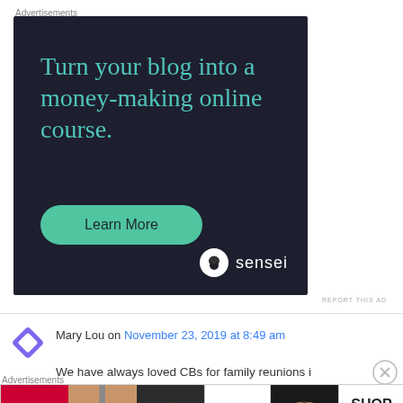Advertisements
[Figure (infographic): Dark background advertisement for Sensei: 'Turn your blog into a money-making online course.' with a teal 'Learn More' button and the Sensei logo at the bottom right.]
REPORT THIS AD
Mary Lou on November 23, 2019 at 8:49 am
We have always loved CBs for family reunions i
Advertisements
[Figure (infographic): Ulta Beauty advertisement strip showing makeup and beauty product images with a SHOP NOW button.]